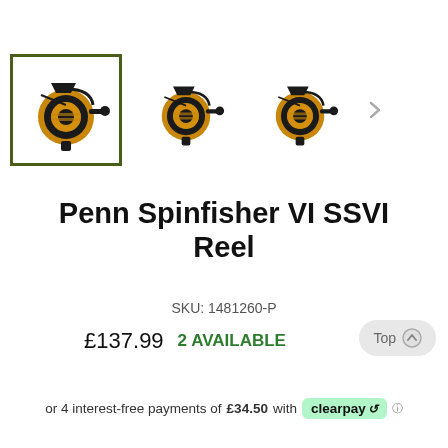[Figure (photo): Three Penn Spinfisher VI SSVI fishing reels shown as thumbnail images. The first thumbnail is highlighted with a dark green border indicating it is selected. Each reel is black and gold/bronze colored.]
Penn Spinfisher VI SSVI Reel
SKU: 1481260-P
£137.99  2 AVAILABLE
or 4 interest-free payments of £34.50 with clearpay